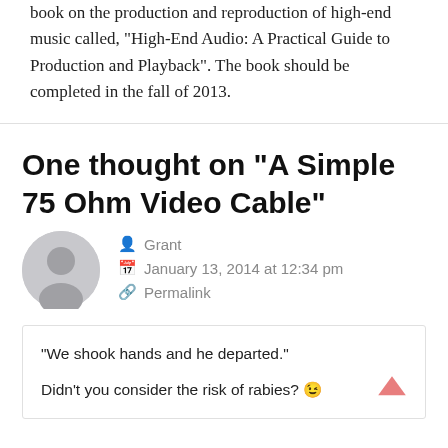book on the production and reproduction of high-end music called, "High-End Audio: A Practical Guide to Production and Playback". The book should be completed in the fall of 2013.
One thought on “A Simple 75 Ohm Video Cable”
Grant
January 13, 2014 at 12:34 pm
Permalink
“We shook hands and he departed.”
Didn’t you consider the risk of rabies? 😉